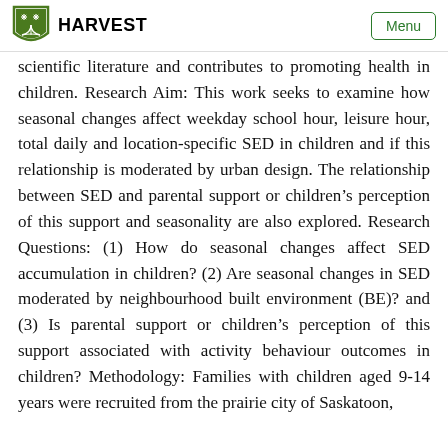HARVEST  Menu
scientific literature and contributes to promoting health in children. Research Aim: This work seeks to examine how seasonal changes affect weekday school hour, leisure hour, total daily and location-specific SED in children and if this relationship is moderated by urban design. The relationship between SED and parental support or children’s perception of this support and seasonality are also explored. Research Questions: (1) How do seasonal changes affect SED accumulation in children? (2) Are seasonal changes in SED moderated by neighbourhood built environment (BE)? and (3) Is parental support or children’s perception of this support associated with activity behaviour outcomes in children? Methodology: Families with children aged 9-14 years were recruited from the prairie city of Saskatoon,